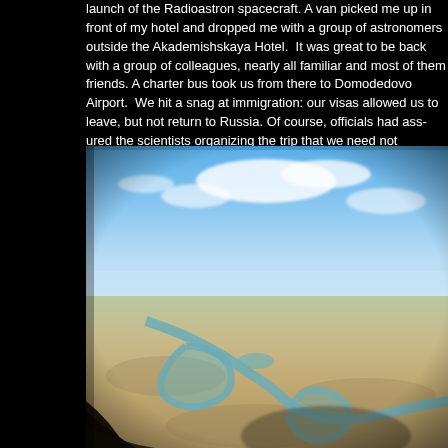launch of the Radioastron spacecraft. A van picked me up in front of my hotel and dropped me with a group of astronomers outside the Akademishskaya Hotel. It was great to be back with a group of colleagues, nearly all familiar and most of them friends. A charter bus took us from there to Domodedovo Airport. We hit a snag at immigration: our visas allowed us to leave, but not return to Russia. Of course, officials had assured the scientists organizing the trip that we need not technically leave Russia, so that our single entry visas would remain valid, but the officer at the immigration gate and his boss insisted on giving our visas the exit stamp. Many jokes about staying in Kazakhstan permanently followed. The institute in Moscow is working to correct the situation.
[Figure (photo): Aerial photograph taken from an airplane window showing a desert landscape (likely Kazakhstan) with a winding river and oxbow lakes visible below. The sky is blue with scattered clouds above the flat, arid terrain.]